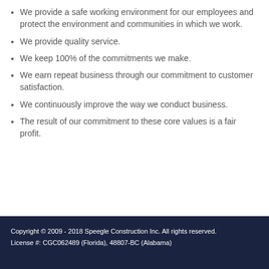We provide a safe working environment for our employees and protect the environment and communities in which we work.
We provide quality service.
We keep 100% of the commitments we make.
We earn repeat business through our commitment to customer satisfaction.
We continuously improve the way we conduct business.
The result of our commitment to these core values is a fair profit.
Copyright © 2009 - 2018 Speegle Construction Inc. All rights reserved.
License #: CGC062489 (Florida), 48807-BC (Alabama)